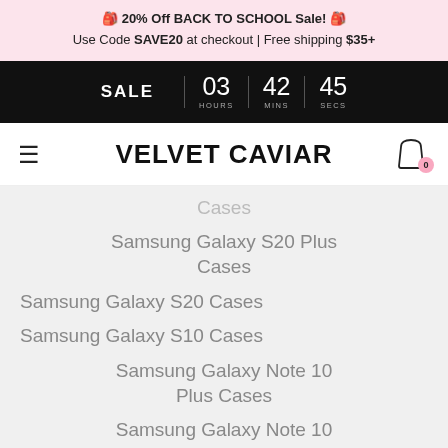🎒 20% Off BACK TO SCHOOL Sale! 🎒
Use Code SAVE20 at checkout | Free shipping $35+
SALE 03 HOURS 42 MINS 45 SECS
VELVET CAVIAR
Cases
Samsung Galaxy S20 Plus Cases
Samsung Galaxy S20 Cases
Samsung Galaxy S10 Cases
Samsung Galaxy Note 10 Plus Cases
Samsung Galaxy Note 10 Cases